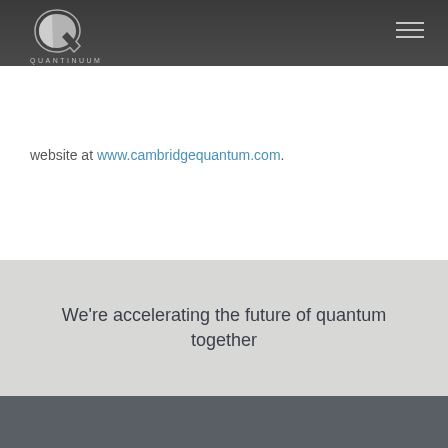[Figure (logo): Quantinuum logo with stylized Q icon and QUANTINUUM wordmark in navigation bar]
website at www.cambridgequantum.com.
We're accelerating the future of quantum together
[Figure (logo): Quantinuum footer logo with stylized Q icon and QUANTINUUM wordmark in dark gray footer]